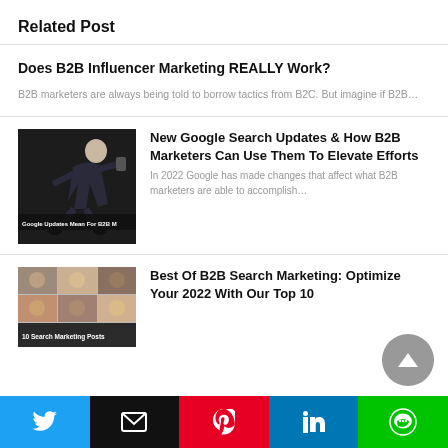Related Post
Does B2B Influencer Marketing REALLY Work?
B2B marketers are always being told to borrow tactics from B2C. But imagine if B2B…
[Figure (photo): Person jumping with Google Updates label overlay]
New Google Search Updates & How B2B Marketers Can Use Them To Elevate Efforts
In 2022 Google has made changes that affect what B2B marketers are able to accomplish…
[Figure (photo): Group of people - 10 Search Marketing Posts thumbnail]
Best Of B2B Search Marketing: Optimize Your 2022 With Our Top 10